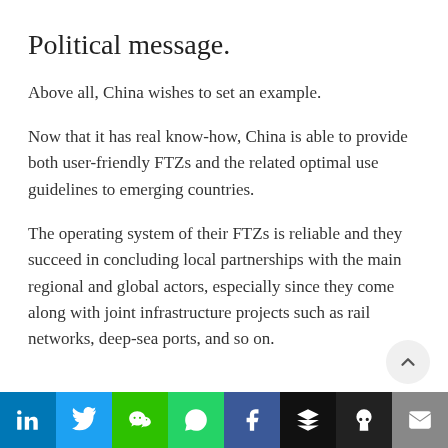Political message.
Above all, China wishes to set an example.
Now that it has real know-how, China is able to provide both user-friendly FTZs and the related optimal use guidelines to emerging countries.
The operating system of their FTZs is reliable and they succeed in concluding local partnerships with the main regional and global actors, especially since they come along with joint infrastructure projects such as rail networks, deep-sea ports, and so on.
Social share bar: LinkedIn, Twitter, WeChat, WhatsApp, Facebook, Buffer, Ghost, Mail